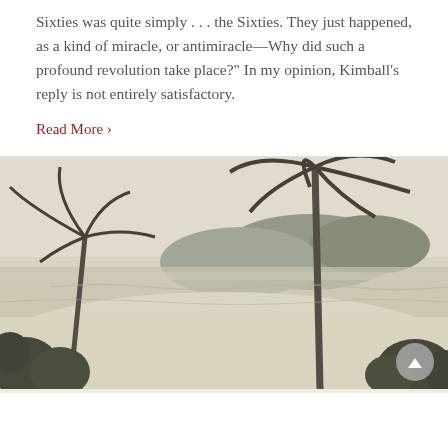Sixties was quite simply . . . the Sixties. They just happened, as a kind of miracle, or antimiracle—Why did such a profound revolution take place?" In my opinion, Kimball's reply is not entirely satisfactory.
Read More ›
[Figure (photo): Black and white vintage photograph of a tropical beach scene with palm trees, sandy shore, calm water, and a hilly coastline in the background.]